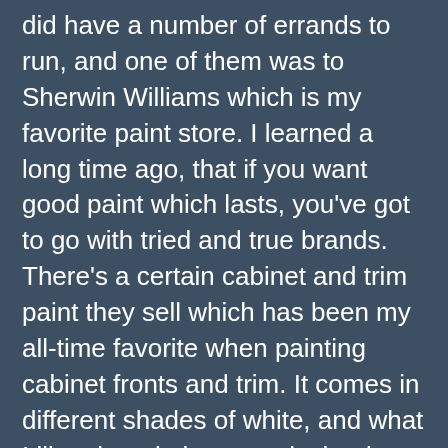did have a number of errands to run, and one of them was to Sherwin Williams which is my favorite paint store. I learned a long time ago, that if you want good paint which lasts, you've got to go with tried and true brands. There's a certain cabinet and trim paint they sell which has been my all-time favorite when painting cabinet fronts and trim. It comes in different shades of white, and what I like about it the most, is that it has a pearly cast to it which gives it a rich depth. When getting my mother's home readied for sale after she passed, I scraped all the old paint off her kitchen cabinets and drawer fronts with new sliders, and then repainted them with their paint, and you could've sworn they were higher-end cabinets, when in fact, there were just re-skinned mid-century modern. With that said, I encourage everyone to make sure you get good paint that lasts, unless you're like